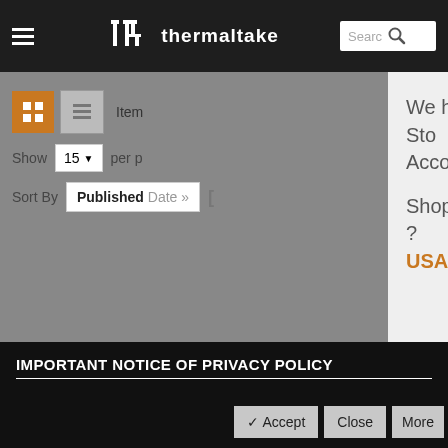thermaltake — navigation header with hamburger menu, logo, and search box
Item
Show 15 per page
Sort By Published Date
We have detected a different Store. According to your country. Shopping From United States ? USA Store.
IMPORTANT NOTICE OF PRIVACY POLICY
✔ Accept   Close   More